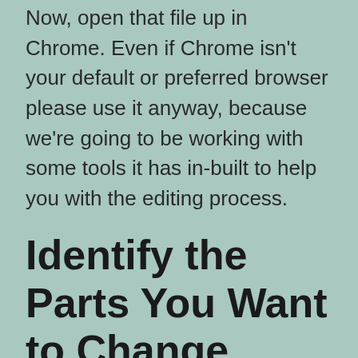Now, open that file up in Chrome. Even if Chrome isn't your default or preferred browser please use it anyway, because we're going to be working with some tools it has in-built to help you with the editing process.
Identify the Parts You Want to Change
If this is your first time learning to edit ThemeForest templates, try not to get drawn into the idea of tweaking the colors and layout just yet. To do that you have to dig into CSS, the language responsible for page styling. It's a